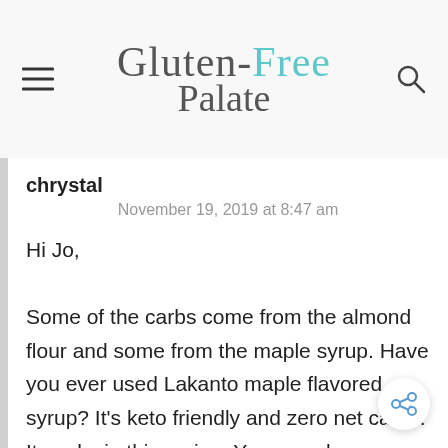Gluten-Free Palate
chrysal
November 19, 2019 at 8:47 am
Hi Jo,

Some of the carbs come from the almond flour and some from the maple syrup. Have you ever used Lakanto maple flavored syrup? It's keto friendly and zero net carbs. It works in this recipe. You can also use a sugar free sweetener like